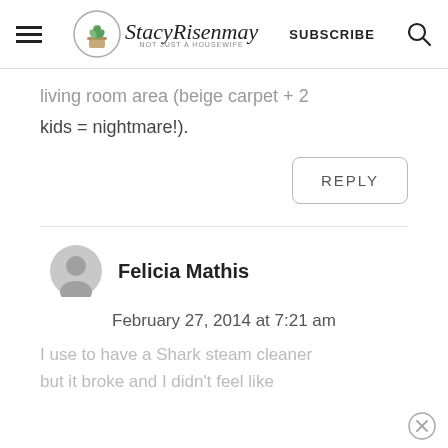StacyRisenmay — NOT JUST A HOUSEWIFE | SUBSCRIBE
living room area (beige carpet + 2 kids = nightmare!).
REPLY
Felicia Mathis
February 27, 2014 at 7:21 am
I use to have a Shark steam cleaner but it broke and I didn't feel like